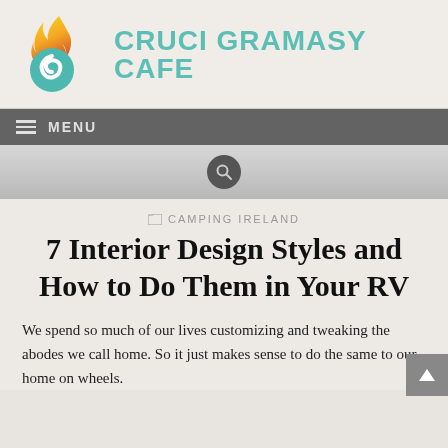[Figure (logo): Cruci Gramasy Cafe logo: flame and teal swirl icon with teal text 'CRUCI GRAMASY CAFE']
MENU
CAMPING IRELAND
7 Interior Design Styles and How to Do Them in Your RV
We spend so much of our lives customizing and tweaking the abodes we call home. So it just makes sense to do the same to our home on wheels.